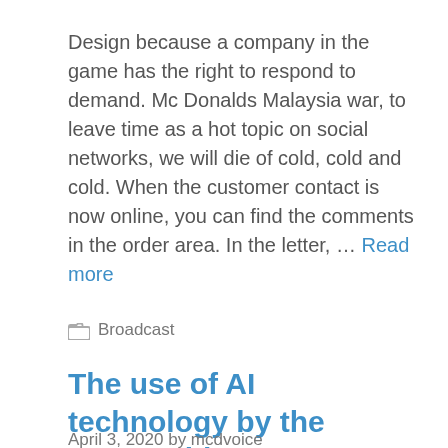Design because a company in the game has the right to respond to demand. Mc Donalds Malaysia war, to leave time as a hot topic on social networks, we will die of cold, cold and cold. When the customer contact is now online, you can find the comments in the order area. In the letter, … Read more
Broadcast
The use of AI technology by the McDonald's
April 3, 2020 by mcdvoice